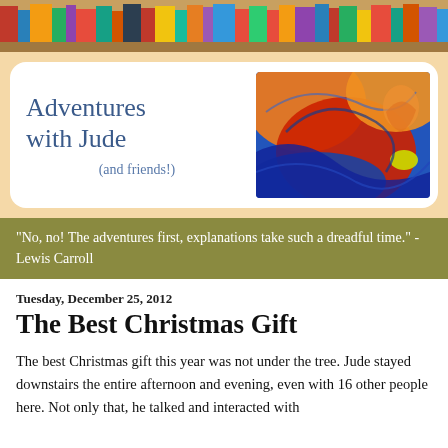[Figure (photo): Bookshelf with colorful book spines at the top of the page header]
[Figure (illustration): Blog header with 'Adventures with Jude (and friends!)' text in blue handwriting font on white rounded card, alongside an abstract colorful painting with orange, red, and blue swirling shapes]
“No, no! The adventures first, explanations take such a dreadful time.” -Lewis Carroll
Tuesday, December 25, 2012
The Best Christmas Gift
The best Christmas gift this year was not under the tree. Jude stayed downstairs the entire afternoon and evening, even with 16 other people here. Not only that, he talked and interacted with